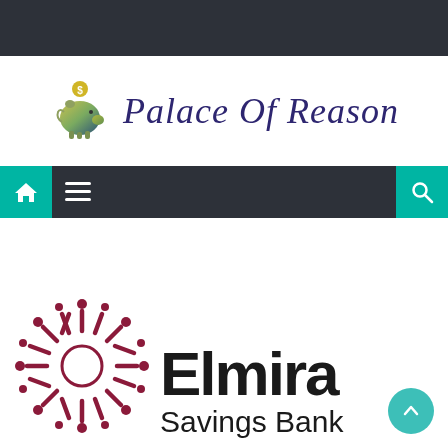[Figure (logo): Palace Of Reason website logo with piggy bank icon and italic serif text]
[Figure (other): Navigation bar with home icon, hamburger menu, and search icon on dark background with teal accent buttons]
[Figure (logo): Elmira Savings Bank logo with dark red starburst/sunburst icon and bold black text reading Elmira Savings Bank]